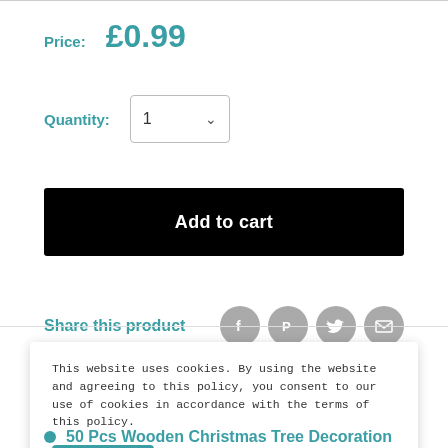Price: £0.99
Quantity: 1
Add to cart
Share this product
This website uses cookies. By using the website and agreeing to this policy, you consent to our use of cookies in accordance with the terms of this policy.
Accept
50 Pcs Wooden Christmas Tree Decoration